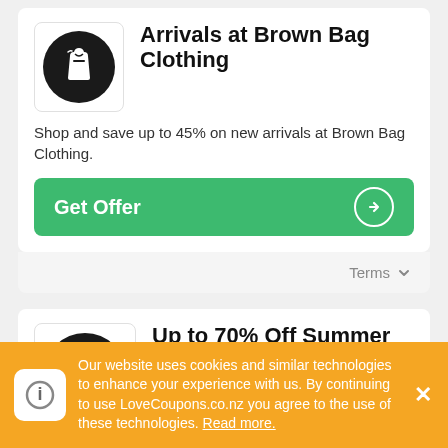[Figure (logo): Brown Bag Clothing logo - white shopping bag icon on black circle]
Arrivals at Brown Bag Clothing
Shop and save up to 45% on new arrivals at Brown Bag Clothing.
Get Offer →
Terms ▾
[Figure (logo): Brown Bag Clothing logo - white shopping bag icon on black circle]
Up to 70% Off Summer Sale at Brown Bag Clothing
Shop and save up to 70% on summer
Our website uses cookies and similar technologies to enhance your experience with us. By continuing to use LoveCoupons.co.nz you agree to the use of these technologies. Read more.